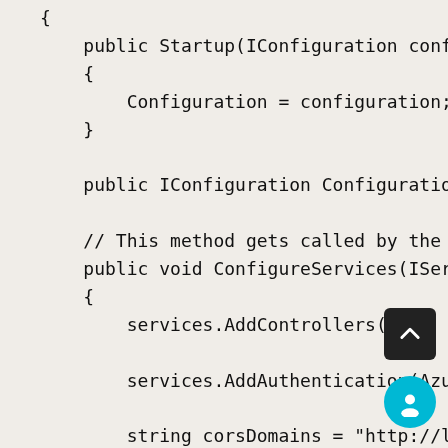{
    public Startup(IConfiguration configu
    {
        Configuration = configuration;
    }

    public IConfiguration Configuration {

    // This method gets called by the run
    public void ConfigureServices(IServic
    {
        services.AddControllers();

        services.AddAuthentication(AzureA

        string corsDomains = "http://loca
        string[] domains = corsDomains.Sp

        services.AddCors(o => o.AddPolicy
        {
            builder.AllowAnyOrigin()